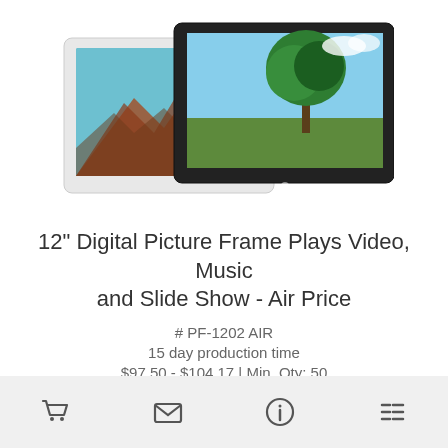[Figure (photo): Two digital picture frames side by side — one white frame showing a mountain landscape, one black frame showing a tree in a field]
12" Digital Picture Frame Plays Video, Music and Slide Show - Air Price
# PF-1202 AIR
15 day production time
$97.50 - $104.17 | Min. Qty: 50
[cart icon] [email icon] [info icon] [list icon]